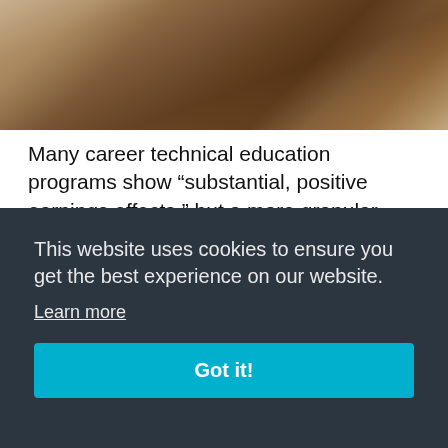[Figure (photo): Close-up photo of a desk surface with books or papers, warm brown tones, blurred background suggesting a study or office environment]
Many career technical education programs show “substantial, positive earnings effects,” but a more granular look at the programs — and the characteristics and motives of students who enroll in them — is needed in order to determine which programs yield the
This website uses cookies to ensure you get the best experience on our website.
Learn more
Got it!